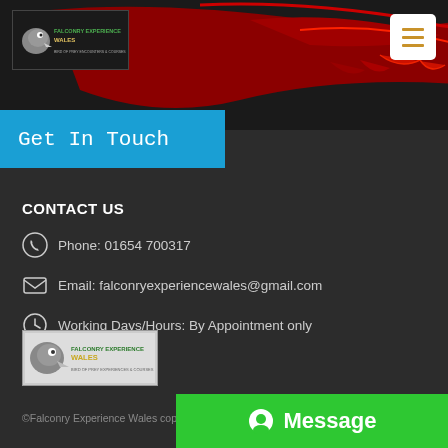Falconry Experience Wales — header with logo and navigation menu
Get In Touch
CONTACT US
Phone: 01654 700317
Email: falconryexperiencewales@gmail.com
Working Days/Hours: By Appointment only
[Figure (logo): Falconry Experience Wales logo badge]
©Falconry Experience Wales copyright 2020. All Rights Reserved